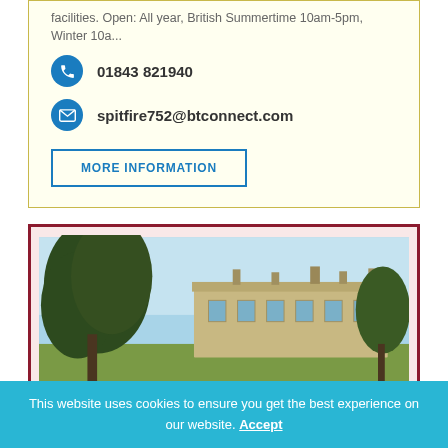facilities. Open: All year, British Summertime 10am-5pm, Winter 10a...
01843 821940
spitfire752@btconnect.com
MORE INFORMATION
[Figure (photo): Exterior photograph of a large historic stone manor house with trees in the foreground against a blue sky]
This website uses cookies to ensure you get the best experience on our website. Accept